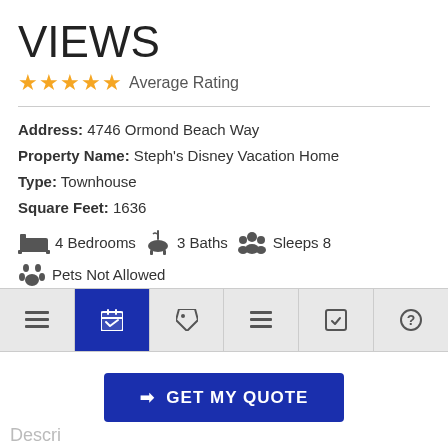VIEWS
★★★★★ Average Rating
Address: 4746 Ormond Beach Way
Property Name: Steph's Disney Vacation Home
Type: Townhouse
Square Feet: 1636
4 Bedrooms   3 Baths   Sleeps 8   Pets Not Allowed
Owner/Manager Contact Info Mark and Deb Stephan